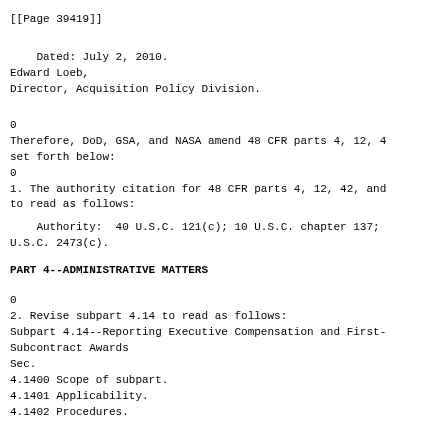[[Page 39419]]
Dated: July 2, 2010.
Edward Loeb,
Director, Acquisition Policy Division.
0
Therefore, DoD, GSA, and NASA amend 48 CFR parts 4, 12, 4
set forth below:
0
1. The authority citation for 48 CFR parts 4, 12, 42, and
to read as follows:
Authority:  40 U.S.C. 121(c); 10 U.S.C. chapter 137;
U.S.C. 2473(c).
PART 4--ADMINISTRATIVE MATTERS
0
2. Revise subpart 4.14 to read as follows:
Subpart 4.14--Reporting Executive Compensation and First-
Subcontract Awards
Sec.
4.1400 Scope of subpart.
4.1401 Applicability.
4.1402 Procedures.